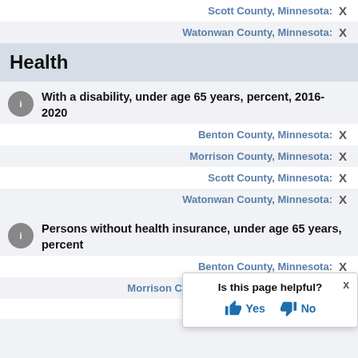Scott County, Minnesota: X
Watonwan County, Minnesota: X
Health
With a disability, under age 65 years, percent, 2016-2020
Benton County, Minnesota: X
Morrison County, Minnesota: X
Scott County, Minnesota: X
Watonwan County, Minnesota: X
Persons without health insurance, under age 65 years, percent
Benton County, Minnesota: X
Morrison County, Minnesota: X
Scott County, Minnesota: X
Is this page helpful? Yes No